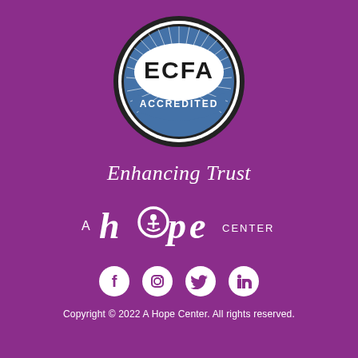[Figure (logo): ECFA Accredited circular badge/seal with blue background, radiating sunburst lines, black outer ring, white inner ring, bold black ECFA text, and white ACCREDITED text on a blue banner]
Enhancing Trust
[Figure (logo): A Hope Center logo with stylized italic 'hope' text in white with a person icon in the letter 'o', and smaller text 'A' and 'CENTER' flanking it]
[Figure (infographic): Four social media icons in white circles: Facebook (f), Instagram (camera square), Twitter (bird), LinkedIn (in)]
Copyright © 2022 A Hope Center. All rights reserved.